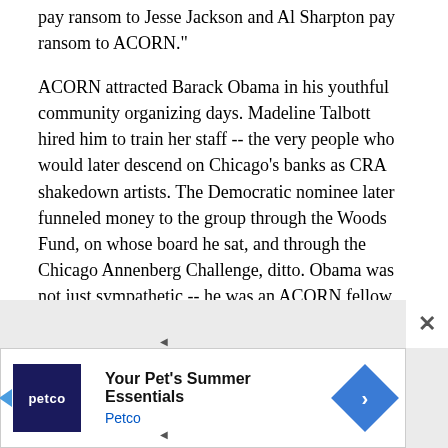pay ransom to Jesse Jackson and Al Sharpton pay ransom to ACORN."
ACORN attracted Barack Obama in his youthful community organizing days. Madeline Talbott hired him to train her staff -- the very people who would later descend on Chicago’s banks as CRA shakedown artists. The Democratic nominee later funneled money to the group through the Woods Fund, on whose board he sat, and through the Chicago Annenberg Challenge, ditto. Obama was not just sympathetic -- he was an ACORN fellow traveler.
[Figure (other): Advertisement banner for Petco showing 'Your Pet's Summer Essentials' with Petco logo and blue arrow graphic, with a close (X) button]